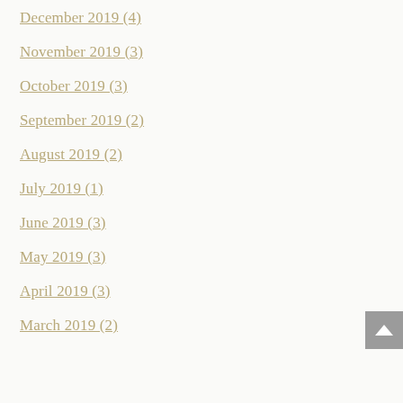December 2019 (4)
November 2019 (3)
October 2019 (3)
September 2019 (2)
August 2019 (2)
July 2019 (1)
June 2019 (3)
May 2019 (3)
April 2019 (3)
March 2019 (2)